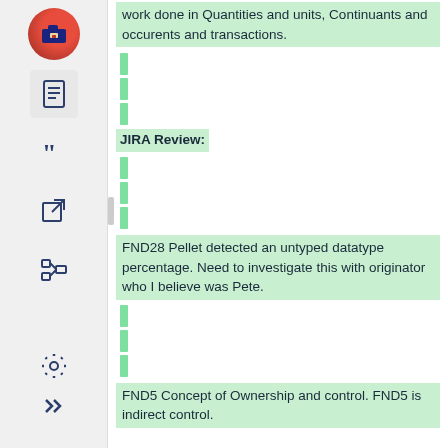work done in Quantities and units, Continuants and occurents and transactions.
JIRA Review:
FND28 Pellet detected an untyped datatype percentage. Need to investigate this with originator who I believe was Pete.
FND5 Concept of Ownership and control. FND5 is indirect control.